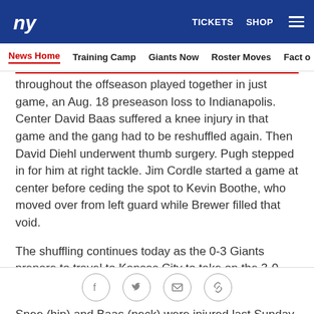ny  TICKETS  SHOP  ≡
News Home  Training Camp  Giants Now  Roster Moves  Fact o
throughout the offseason played together in just game, an Aug. 18 preseason loss to Indianapolis. Center David Baas suffered a knee injury in that game and the gang had to be reshuffled again. Then David Diehl underwent thumb surgery. Pugh stepped in for him at right tackle. Jim Cordle started a game at center before ceding the spot to Kevin Boothe, who moved over from left guard while Brewer filled that void.
The shuffling continues today as the 0-3 Giants prepare to travel to Kansas City to take on the 3-0 Chiefs.
Snee (hip) and Baas (neck) were injured last Sunday at